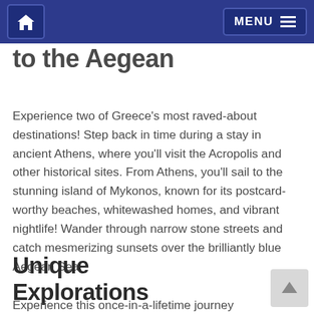MENU
to the Aegean
Experience two of Greece's most raved-about destinations! Step back in time during a stay in ancient Athens, where you'll visit the Acropolis and other historical sites. From Athens, you'll sail to the stunning island of Mykonos, known for its postcard-worthy beaches, whitewashed homes, and vibrant nightlife! Wander through narrow stone streets and catch mesmerizing sunsets over the brilliantly blue Aegean Sea.
Unique Explorations
Experience...